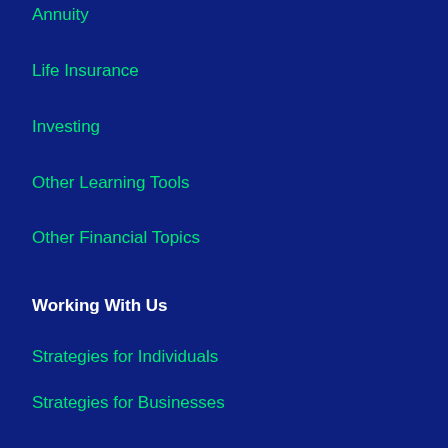Annuity
Life Insurance
Investing
Other Learning Tools
Other Financial Topics
Working With Us
Strategies for Individuals
Strategies for Businesses
Extensive Provider Choices
Share Your Love
Discovery Process